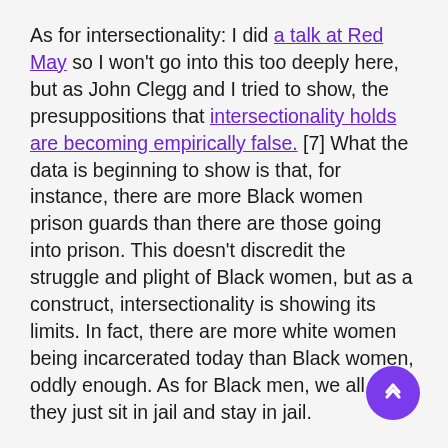As for intersectionality: I did a talk at Red May so I won't go into this too deeply here, but as John Clegg and I tried to show, the presuppositions that intersectionality holds are becoming empirically false. [7] What the data is beginning to show is that, for instance, there are more Black women prison guards than there are those going into prison. This doesn't discredit the struggle and plight of Black women, but as a construct, intersectionality is showing its limits. In fact, there are more white women being incarcerated today than Black women, oddly enough. As for Black men, we all know they just sit in jail and stay in jail.
Whatever intersectionality once wanted to do is no longer feasible or viable as a guide for us. In my talk with Red May, I suggest that we get back to the roots of Black feminism. We need categories that understand the Black feminist struggle beyond the oppression that the system